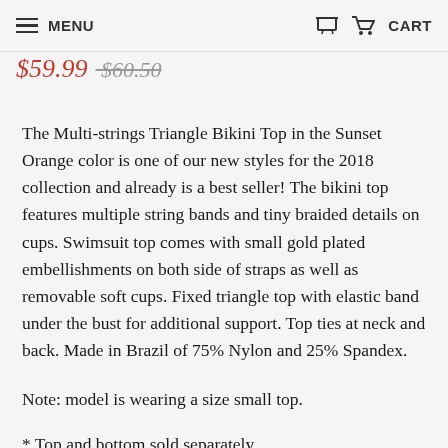MENU | CART
$59.99 $60.50
The Multi-strings Triangle Bikini Top in the Sunset Orange color is one of our new styles for the 2018 collection and already is a best seller! The bikini top features multiple string bands and tiny braided details on cups. Swimsuit top comes with small gold plated embellishments on both side of straps as well as removable soft cups. Fixed triangle top with elastic band under the bust for additional support. Top ties at neck and back. Made in Brazil of 75% Nylon and 25% Spandex.
Note: model is wearing a size small top.
* Top and bottom sold separately.